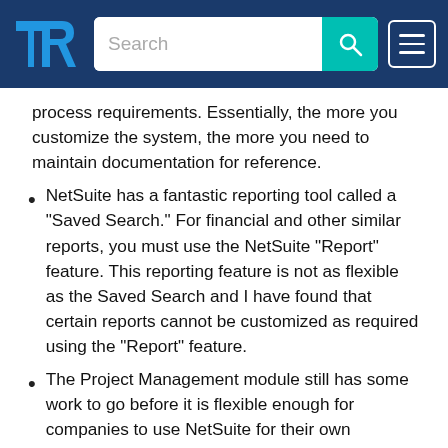TrustRadius header with search bar
process requirements. Essentially, the more you customize the system, the more you need to maintain documentation for reference.
NetSuite has a fantastic reporting tool called a "Saved Search." For financial and other similar reports, you must use the NetSuite "Report" feature. This reporting feature is not as flexible as the Saved Search and I have found that certain reports cannot be customized as required using the "Report" feature.
The Project Management module still has some work to go before it is flexible enough for companies to use NetSuite for their own customized processes. The module is fairly inflexible, and at a previous company we had